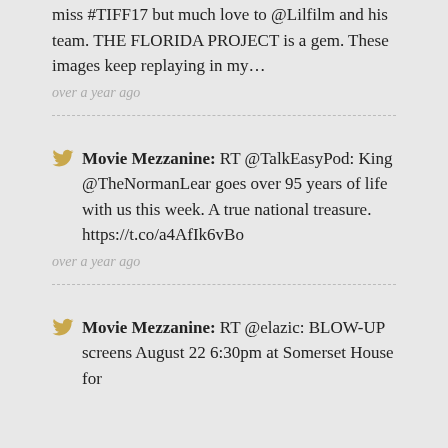miss #TIFF17 but much love to @Lilfilm and his team. THE FLORIDA PROJECT is a gem. These images keep replaying in my…
over a year ago
Movie Mezzanine: RT @TalkEasyPod: King @TheNormanLear goes over 95 years of life with us this week. A true national treasure. https://t.co/a4AfIk6vBo
over a year ago
Movie Mezzanine: RT @elazic: BLOW-UP screens August 22 6:30pm at Somerset House for